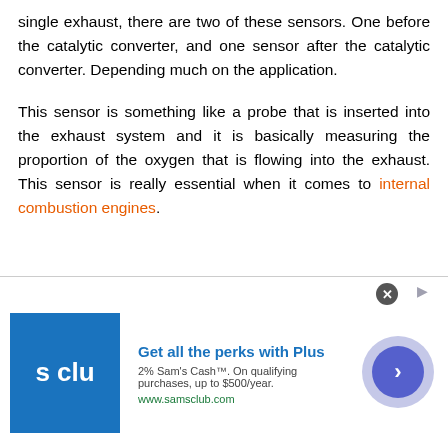single exhaust, there are two of these sensors. One before the catalytic converter, and one sensor after the catalytic converter. Depending much on the application.
This sensor is something like a probe that is inserted into the exhaust system and it is basically measuring the proportion of the oxygen that is flowing into the exhaust. This sensor is really essential when it comes to internal combustion engines.
[Figure (other): Advertisement banner for Sam's Club Plus membership. Logo shows 's clu' text on blue background. Headline: 'Get all the perks with Plus'. Subtext: '2% Sam’s Cash™. On qualifying purchases, up to $500/year.' URL: www.samsclub.com]